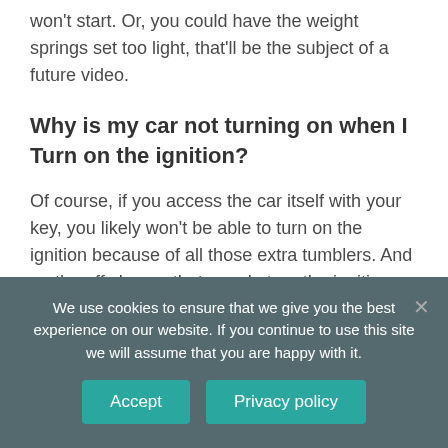won't start. Or, you could have the weight springs set too light, that'll be the subject of a future video.
Why is my car not turning on when I Turn on the ignition?
Of course, if you access the car itself with your key, you likely won't be able to turn on the ignition because of all those extra tumblers. And on the off chance that you do turn the ignition cylinder, the immobilizer won't allow you to start
We use cookies to ensure that we give you the best experience on our website. If you continue to use this site we will assume that you are happy with it.
Accept
Privacy policy